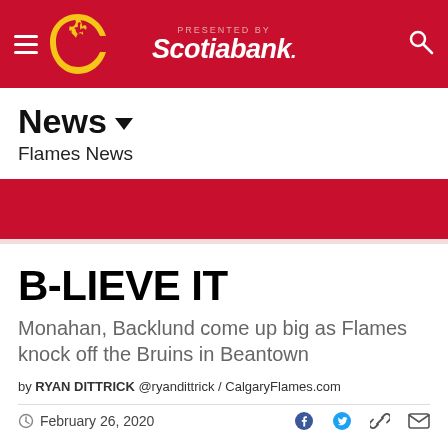PRESENTED BY Scotiabank.
News ▾
Flames News
B-LIEVE IT
Monahan, Backlund come up big as Flames knock off the Bruins in Beantown
by RYAN DITTRICK @ryandittrick / CalgaryFlames.com
February 26, 2020